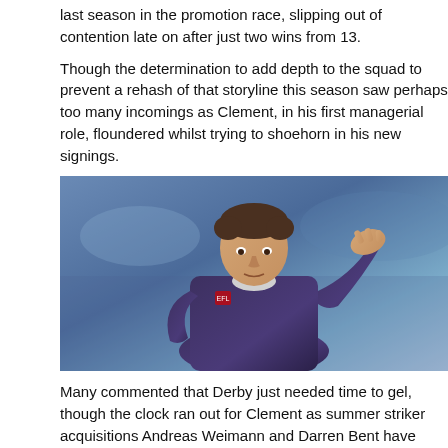last season in the promotion race, slipping out of contention late on after just two wins from 13.
Though the determination to add depth to the squad to prevent a rehash of that storyline this season saw perhaps too many incomings as Clement, in his first managerial role, floundered whilst trying to shoehorn in his new signings.
[Figure (photo): A football player in a dark purple/navy jersey with hand raised to forehead, looking distressed, with blurred stadium background]
Many commented that Derby just needed time to gel, though the clock ran out for Clement as summer striker acquisitions Andreas Weimann and Darren Bent have failed to make the grade, while usual performers such as sharpshooter Chris Martin have been misfiring.
Still, shuffling the pack with the project barely underway will draw criticism, especially as Derby can be considered to have been unlucky in some matches.
For example, the Rams put on a determined display at Pride Park as they